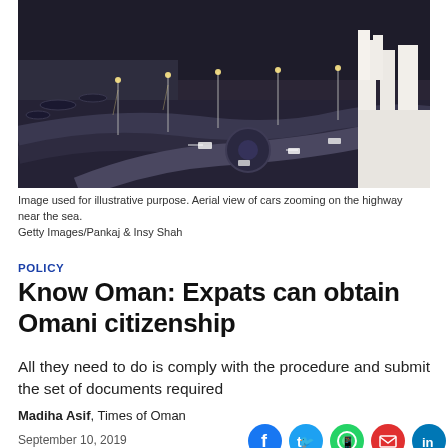[Figure (photo): Aerial night view of cars on a coastal highway near the sea in Oman, with street lights and a roundabout visible]
Image used for illustrative purpose. Aerial view of cars zooming on the highway near the sea.
Getty Images/Pankaj & Insy Shah
POLICY
Know Oman: Expats can obtain Omani citizenship
All they need to do is comply with the procedure and submit the set of documents required
Madiha Asif, Times of Oman
September 10, 2019